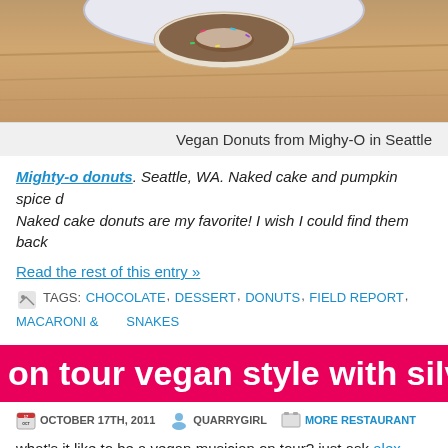[Figure (photo): Photo of vegan donuts from Mighty-O in Seattle on a wooden surface with a plate partially visible]
Vegan Donuts from Mighy-O in Seattle
Mighty-o donuts. Seattle, WA. Naked cake and pumpkin spice d... Naked cake donuts are my favorite! I wish I could find them back...
Read the rest of this entry »
TAGS: CHOCOLATE, DESSERT, DONUTS, FIELD REPORT, MACARONI & SNAKES
on tour vegan style with silver sna...
OCTOBER 17TH, 2011   QUARRYGIRL   MORE RESTAURANT
what's it like to be a vegan musician on tour? just ask alex estrad... the band is on the road, he's texting us updates of their vegan m...